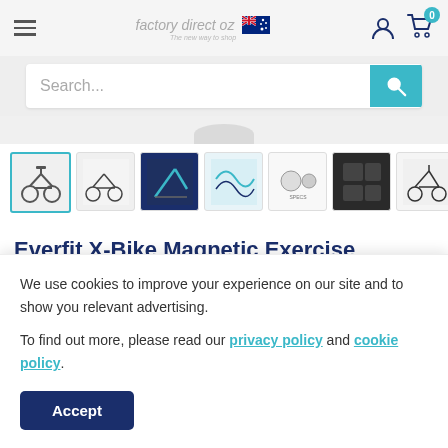factory direct oz — The new way to shop
Search...
[Figure (photo): Row of 7 product thumbnail images of an exercise bike]
Everfit X-Bike Magnetic Exercise Bike
We use cookies to improve your experience on our site and to show you relevant advertising.

To find out more, please read our privacy policy and cookie policy.
Accept